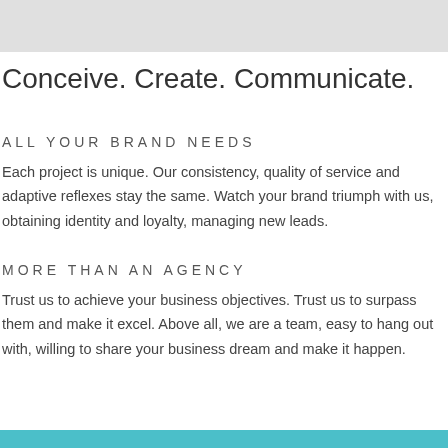Conceive. Create. Communicate.
ALL YOUR BRAND NEEDS
Each project is unique. Our consistency, quality of service and adaptive reflexes stay the same. Watch your brand triumph with us, obtaining identity and loyalty, managing new leads.
MORE THAN AN AGENCY
Trust us to achieve your business objectives. Trust us to surpass them and make it excel. Above all, we are a team, easy to hang out with, willing to share your business dream and make it happen.